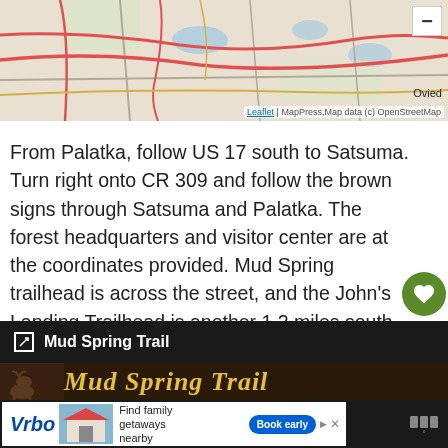[Figure (map): Partial map view showing road network near Oviedo area with colored road lines on beige/gray background, minus zoom button in top-right corner, and Leaflet/MapPress/OpenStreetMap attribution at bottom.]
From Palatka, follow US 17 south to Satsuma. Turn right onto CR 309 and follow the brown signs through Satsuma and Palatka. The forest headquarters and visitor center are at the coordinates provided. Mud Spring trailhead is across the street, and the John's Landing Trailhead is another 1.2 miles south along CR 309 on the right.
[Figure (screenshot): Dark navigation bar showing 'Mud Spring Trail' text with an external link icon, followed by a partial image strip with yellow italic text reading 'Mud Spring Trail' over a dark nature background.]
[Figure (screenshot): Advertisement banner at bottom: Vrbo logo, house photo, 'Find family getaways nearby' text, 'Book early' blue button, close X, and weather app icon on dark background.]